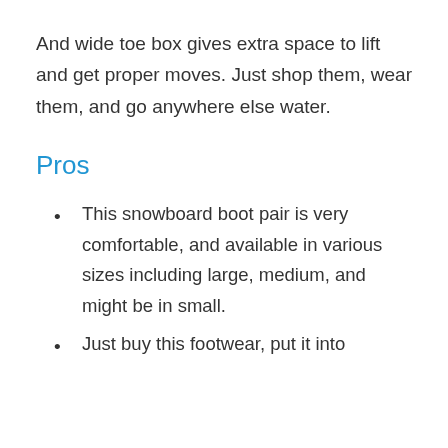And wide toe box gives extra space to lift and get proper moves. Just shop them, wear them, and go anywhere else water.
Pros
This snowboard boot pair is very comfortable, and available in various sizes including large, medium, and might be in small.
Just buy this footwear, put it into